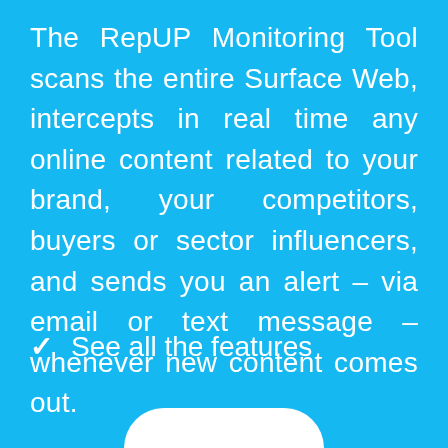The RepUP Monitoring Tool scans the entire Surface Web, intercepts in real time any online content related to your brand, your competitors, buyers or sector influencers, and sends you an alert – via email or text message – whenever new content comes out.
✓  See all the features